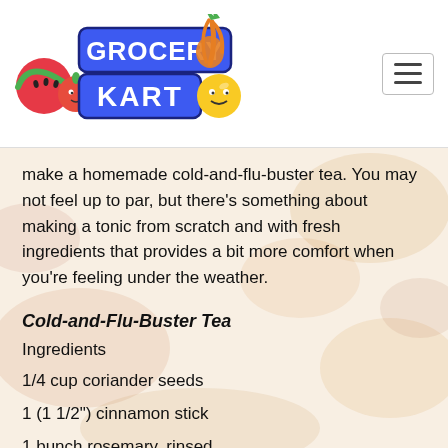Grocery Kart logo and navigation menu
make a homemade cold-and-flu-buster tea. You may not feel up to par, but there's something about making a tonic from scratch and with fresh ingredients that provides a bit more comfort when you're feeling under the weather.
Cold-and-Flu-Buster Tea
Ingredients
1/4 cup coriander seeds
1 (1 1/2") cinnamon stick
1 bunch rosemary, rinsed
1 bunch cilantro, rinsed
2 bags detox tea
1 tablespoon raw, unfiltered apple cider vinegar